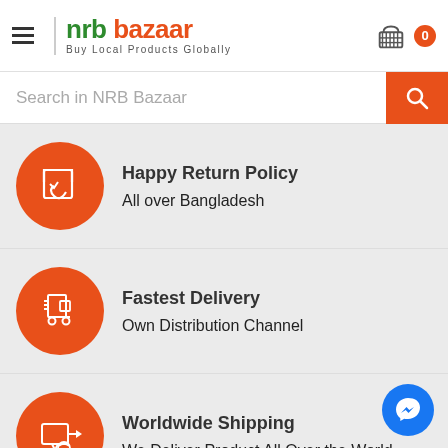[Figure (logo): NRB Bazaar logo with hamburger menu, tagline 'Buy Local Products Globally', and shopping cart icon with badge 0]
[Figure (screenshot): Search bar with placeholder 'Search in NRB Bazaar' and orange search button]
Happy Return Policy
All over Bangladesh
Fastest Delivery
Own Distribution Channel
Worldwide Shipping
We Deliver Product All Over the World